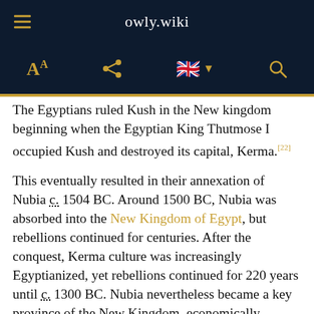owly.wiki
The Egyptians ruled Kush in the New kingdom beginning when the Egyptian King Thutmose I occupied Kush and destroyed its capital, Kerma.[22]
This eventually resulted in their annexation of Nubia c. 1504 BC. Around 1500 BC, Nubia was absorbed into the New Kingdom of Egypt, but rebellions continued for centuries. After the conquest, Kerma culture was increasingly Egyptianized, yet rebellions continued for 220 years until c. 1300 BC. Nubia nevertheless became a key province of the New Kingdom, economically, politically, and spiritually. Indeed, major pharaonic ceremonies were